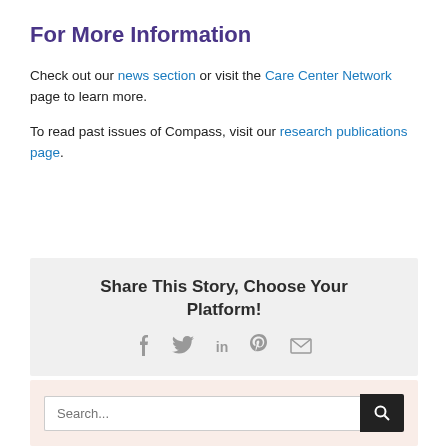For More Information
Check out our news section or visit the Care Center Network page to learn more.
To read past issues of Compass, visit our research publications page.
Share This Story, Choose Your Platform!
[Figure (infographic): Social sharing icons: Facebook, Twitter, LinkedIn, Pinterest, Email]
[Figure (screenshot): Search bar with placeholder text 'Search...' and a dark search button with magnifying glass icon]